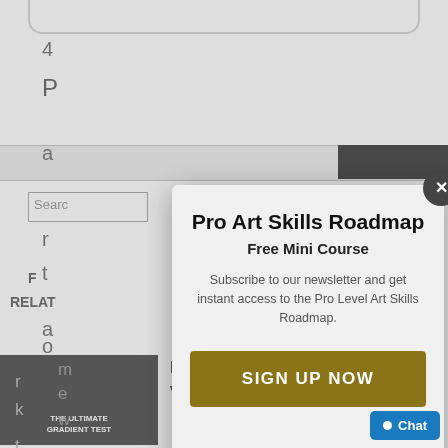[Figure (screenshot): Background webpage with partial text characters, search box, navigation bar, and article thumbnails visible behind a modal overlay]
Pro Art Skills Roadmap
Free Mini Course
Subscribe to our newsletter and get instant access to the Pro Level Art Skills Roadmap.
SIGN UP NOW
Learning Art with Acrylic vs Oil Paint
Chat